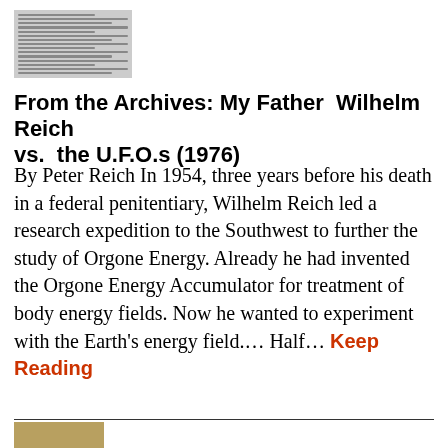[Figure (screenshot): Thumbnail image of a newspaper article clipping, shown in grayscale with multiple columns of small text]
From the Archives: My Father Wilhelm Reich vs. the U.F.O.s (1976)
By Peter Reich In 1954, three years before his death in a federal penitentiary, Wilhelm Reich led a research expedition to the Southwest to further the study of Orgone Energy. Already he had invented the Orgone Energy Accumulator for treatment of body energy fields. Now he wanted to experiment with the Earth's energy field.... Half... Keep Reading